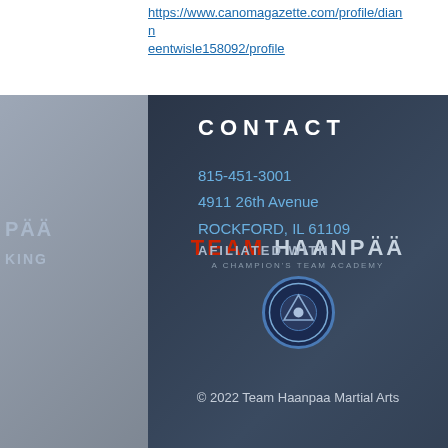https://www.canomagazette.com/profile/dianneentwisle158092/profile
CONTACT
815-451-3001
4911 26th Avenue
ROCKFORD, IL 61109
[Figure (logo): Team Haanpaa martial arts logo with red TEAM text and white HAANPAA text]
AFILIATED WITH:
[Figure (logo): Circular affiliation badge/seal logo]
© 2022 Team Haanpaa Martial Arts